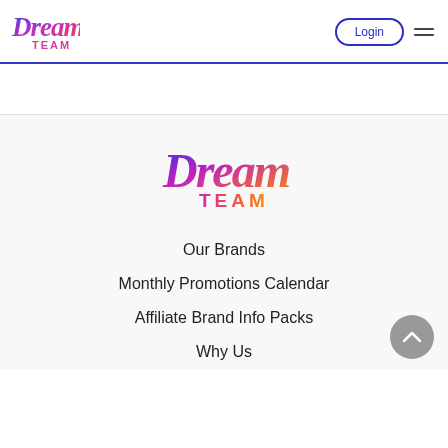[Figure (logo): Dream Team logo small in header, script 'Dream' in blue-to-magenta gradient, 'TEAM' in magenta below]
[Figure (logo): Login button with rounded border and hamburger menu icon in header]
[Figure (logo): Dream Team logo large, centered in footer section, script 'Dream' in blue-to-orange gradient, 'TEAM' in orange-magenta gradient]
Our Brands
Monthly Promotions Calendar
Affiliate Brand Info Packs
Why Us